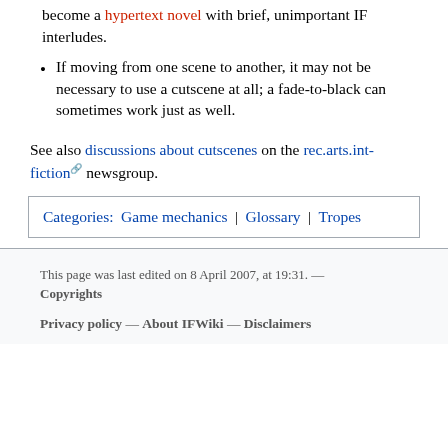become a hypertext novel with brief, unimportant IF interludes.
If moving from one scene to another, it may not be necessary to use a cutscene at all; a fade-to-black can sometimes work just as well.
See also discussions about cutscenes on the rec.arts.int-fiction newsgroup.
Categories: Game mechanics | Glossary | Tropes
This page was last edited on 8 April 2007, at 19:31. — Copyrights
Privacy policy — About IFWiki — Disclaimers